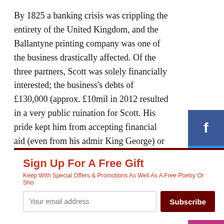By 1825 a banking crisis was crippling the entirety of the United Kingdom, and the Ballantyne printing company was one of the business drastically affected. Of the three partners, Scott was solely financially interested; the business's debts of £130,000 (approx. £10mil in 2012 resulted in a very public ruination for Scott. His pride kept him from accepting financial aid (even from his admir King George) or declaring himself bankrupt and so he placed his home and income in a trust owned by his creditors, resolving to continue writing until he could pay
[Figure (infographic): Social media sharing buttons: Facebook (blue), Twitter (light blue), YouTube (red), Instagram (pink/purple)]
Sign Up For A Free Gift
Keep With Special Offers & Promotions As Well As A Free Poetry Or Sho
health had begun to fail. Nonetheless he departed on a